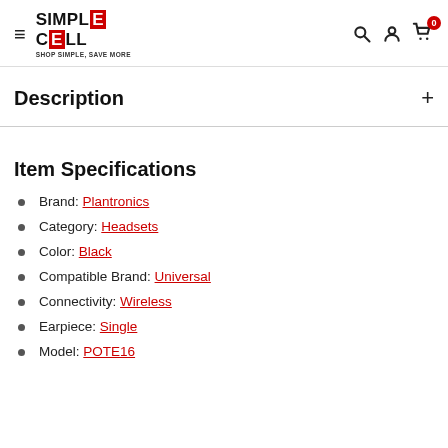Simple Cell — Shop Simple, Save More
Description
Item Specifications
Brand: Plantronics
Category: Headsets
Color: Black
Compatible Brand: Universal
Connectivity: Wireless
Earpiece: Single
Model: POTE16